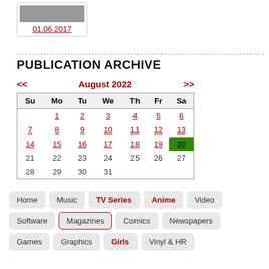[Figure (photo): Small photo thumbnail with date link 01.06.2017]
PUBLICATION ARCHIVE
| Su | Mo | Tu | We | Th | Fr | Sa |
| --- | --- | --- | --- | --- | --- | --- |
|  | 1 | 2 | 3 | 4 | 5 | 6 |
| 7 | 8 | 9 | 10 | 11 | 12 | 13 |
| 14 | 15 | 16 | 17 | 18 | 19 | 20 |
| 21 | 22 | 23 | 24 | 25 | 26 | 27 |
| 28 | 29 | 30 | 31 |  |  |  |
Home
Music
TV Series
Anime
Video
Software
Magazines
Comics
Newspapers
Games
Graphics
Girls
Vinyl & HR